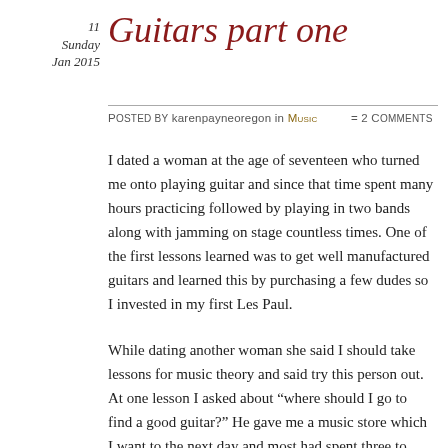11
Sunday
Jan 2015
Guitars part one
Posted by karenpayneoregon in Music   = 2 Comments
I dated a woman at the age of seventeen who turned me onto playing guitar and since that time spent many hours practicing followed by playing in two bands along with jamming on stage countless times. One of the first lessons learned was to get well manufactured guitars and learned this by purchasing a few dudes so I invested in my first Les Paul.
While dating another woman she said I should take lessons for music theory and said try this person out. At one lesson I asked about “where should I go to find a good guitar?” He gave me a music store which I want to the next day and most had spent three to four hours trying out several Gibson Les Paul guitars but